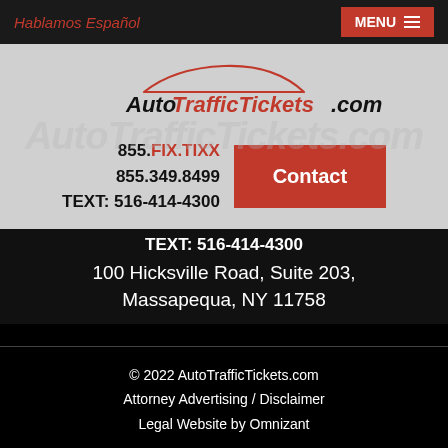Hablamos Español
[Figure (logo): AutoTrafficTickets.com logo with red car silhouette outline above stylized text 'Auto Traffic Tickets .com' in black and red italic font, on a light gray background with watermark]
855.FIX.TIXX
855.349.8499
TEXT: 516-414-4300
Contact
TEXT: 516-414-4300
100 Hicksville Road, Suite 203,
Massapequa, NY 11758
© 2022 AutoTrafficTickets.com
Attorney Advertising / Disclaimer
Legal Website by Omnizant